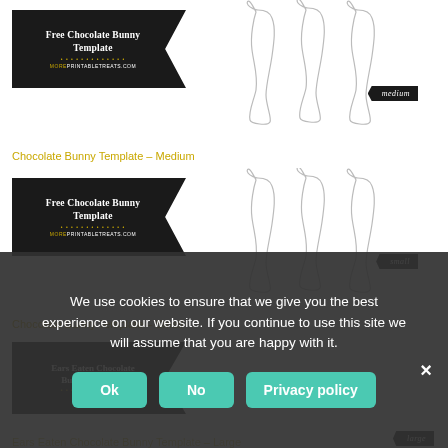[Figure (illustration): Free Chocolate Bunny Template banner with bunny outlines (medium size) from moreprintabletreats.com]
Chocolate Bunny Template – Medium
[Figure (illustration): Free Chocolate Bunny Template banner with bunny outlines (small size) from moreprintabletreats.com]
Chocolate Bunny Template – Small
[Figure (illustration): Ears Eaten Chocolate Bunny Template banner (large size) from moreprintabletreats.com]
Ears Eaten Chocolate Bunny Template – Large
We use cookies to ensure that we give you the best experience on our website. If you continue to use this site we will assume that you are happy with it.